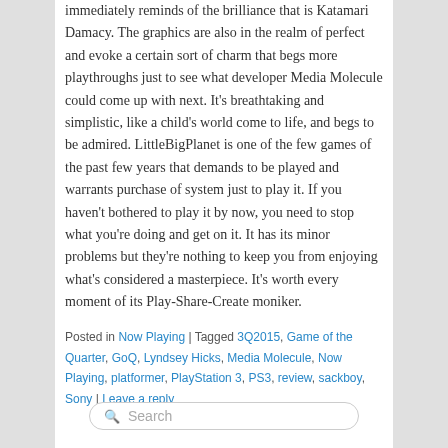immediately reminds of the brilliance that is Katamari Damacy. The graphics are also in the realm of perfect and evoke a certain sort of charm that begs more playthroughs just to see what developer Media Molecule could come up with next. It's breathtaking and simplistic, like a child's world come to life, and begs to be admired. LittleBigPlanet is one of the few games of the past few years that demands to be played and warrants purchase of system just to play it. If you haven't bothered to play it by now, you need to stop what you're doing and get on it. It has its minor problems but they're nothing to keep you from enjoying what's considered a masterpiece. It's worth every moment of its Play-Share-Create moniker.
Posted in Now Playing | Tagged 3Q2015, Game of the Quarter, GoQ, Lyndsey Hicks, Media Molecule, Now Playing, platformer, PlayStation 3, PS3, review, sackboy, Sony | Leave a reply